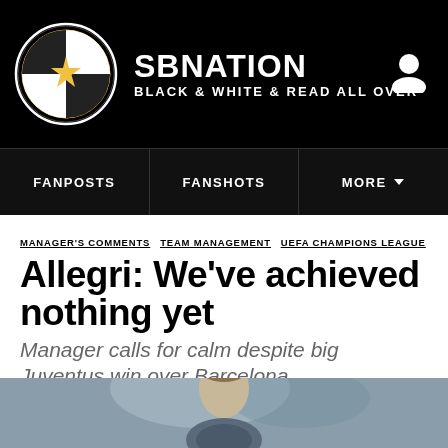SBNATION BLACK & WHITE & READ ALL OVER
FANPOSTS | FANSHOTS | MORE
MANAGER'S COMMENTS  TEAM MANAGEMENT  UEFA CHAMPIONS LEAGUE
Allegri: We've achieved nothing yet
Manager calls for calm despite big Juventus win over Barcelona
By Calvin | @Mr_Faded_Glory | Apr 12, 2017, 2:00am CEST
[Figure (photo): Share bar with Facebook, Twitter, and Share icons]
[Figure (photo): Photo of a man (Allegri) at bottom of page, blurred background]